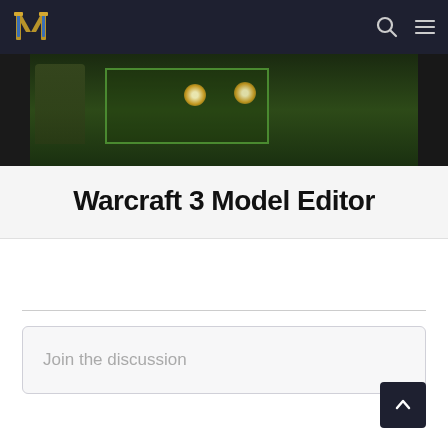WarcraftIII.net navigation header
[Figure (screenshot): Warcraft 3 game screenshot showing green terrain with glowing items and a character silhouette]
Warcraft 3 Model Editor
Join the discussion